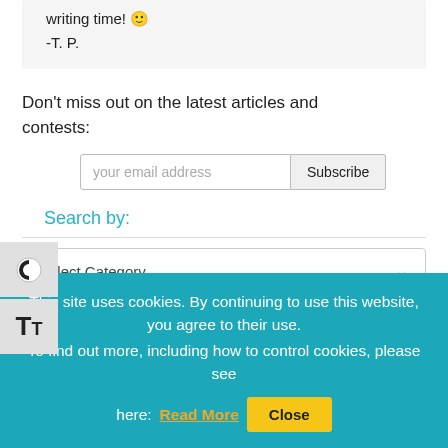writing time! 🙂
-T. P.
Don't miss out on the latest articles and contests:
your email address [Subscribe]
Search by:
Select Category ▾
This site uses cookies. By continuing to use this website, you agree to their use.
To find out more, including how to control cookies, please see here: Read More   Close